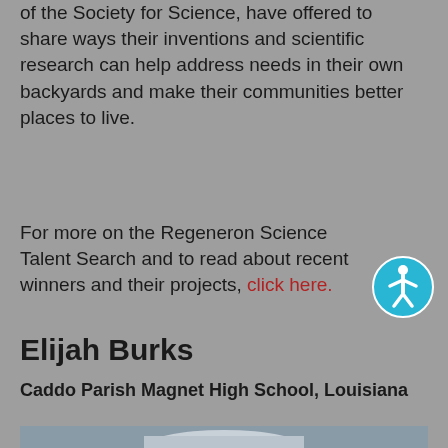of the Society for Science, have offered to share ways their inventions and scientific research can help address needs in their own backyards and make their communities better places to live.
For more on the Regeneron Science Talent Search and to read about recent winners and their projects, click here.
Elijah Burks
Caddo Parish Magnet High School, Louisiana
[Figure (photo): Photo of Elijah Burks standing in front of the U.S. Capitol building]